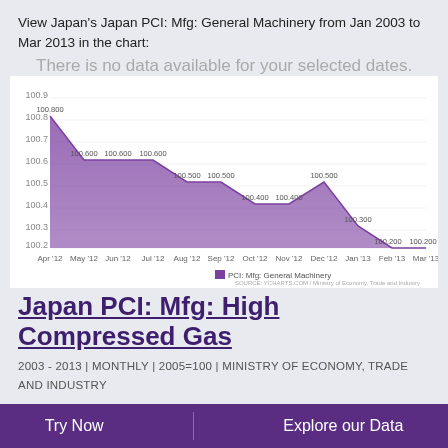View Japan's Japan PCI: Mfg: General Machinery from Jan 2003 to Mar 2013 in the chart:
There is no data available for your selected dates.
[Figure (area-chart): PCI: Mfg: General Machinery]
Japan PCI: Mfg: High Compressed Gas
2003 - 2013 | MONTHLY | 2005=100 | MINISTRY OF ECONOMY, TRADE AND INDUSTRY
Try Now   Explore our Data